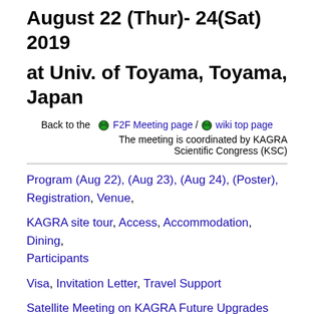August 22 (Thur)- 24(Sat) 2019
at Univ. of Toyama, Toyama, Japan
Back to the  F2F Meeting page /  wiki top page
The meeting is coordinated by KAGRA Scientific Congress (KSC)
Program (Aug 22), (Aug 23), (Aug 24), (Poster), Registration, Venue,
KAGRA site tour, Access, Accommodation, Dining, Participants
Visa, Invitation Letter, Travel Support
Satellite Meeting on KAGRA Future Upgrades (August 21, 13:00-) Wiki
Outline of the meeting